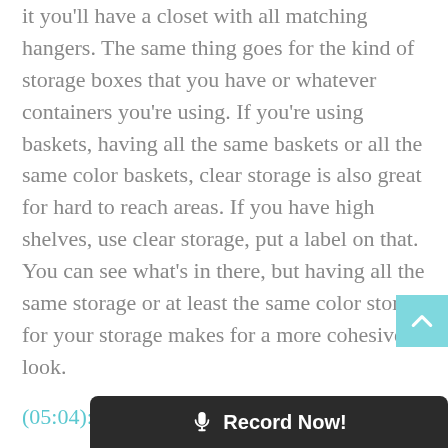it you'll have a closet with all matching hangers. The same thing goes for the kind of storage boxes that you have or whatever containers you're using. If you're using baskets, having all the same baskets or all the same color baskets, clear storage is also great for hard to reach areas. If you have high shelves, use clear storage, put a label on that. You can see what's in there, but having all the same storage or at least the same color story for your storage makes for a more cohesive look.
(05:04):
And that's where you get the look and the feel of a more organized closet. Those are just some simple tips to help you organize a closet. When you can't do her entire remodel d...